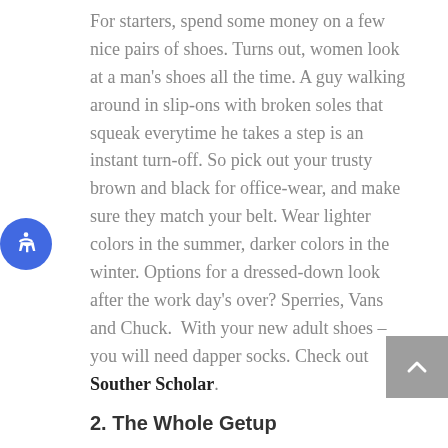For starters, spend some money on a few nice pairs of shoes. Turns out, women look at a man's shoes all the time. A guy walking around in slip-ons with broken soles that squeak everytime he takes a step is an instant turn-off. So pick out your trusty brown and black for office-wear, and make sure they match your belt. Wear lighter colors in the summer, darker colors in the winter. Options for a dressed-down look after the work day's over? Sperries, Vans and Chuck.  With your new adult shoes – you will need dapper socks. Check out Souther Scholar.
2. The Whole Getup
A shabby pair of shoes will most certainly